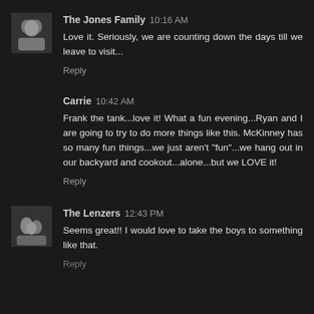The Jones Family 10:16 AM
Love it. Seriously, we are counting down the days till we leave to visit...
Reply
Carrie 10:42 AM
Frank the tank...love it! What a fun evening...Ryan and I are going to try to do more things like this. McKinney has so many fun things...we just aren't "fun"...we hang out in our backyard and cookout...alone...but we LOVE it!
Reply
The Lenzers 12:43 PM
Seems great!! I would love to take the boys to something like that.
Reply